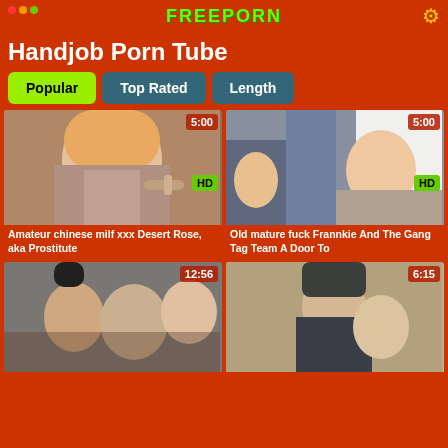FREEPORN
Handjob Porn Tube
Popular
Top Rated
Length
[Figure (photo): Video thumbnail 1 with timestamp 5:00 and HD badge]
Amateur chinese milf xxx Desert Rose, aka Prostitute
[Figure (photo): Video thumbnail 2 with timestamp 5:00 and HD badge]
Old mature fuck Frannkie And The Gang Tag Team A Door To
[Figure (photo): Video thumbnail 3 with timestamp 12:56]
[Figure (photo): Video thumbnail 4 with timestamp 6:15]